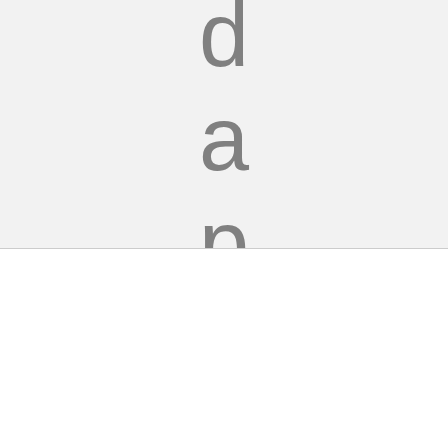[Figure (screenshot): Vertically spaced large letters 'd', 'a', 'p', 'p', 'r' on a light grey background, appearing to be cut-off vertical text spelling 'disappr...']
By clicking “Accept All Cookies”, you agree to the storing of cookies on your device to enhance site navigation, analyse site usage, and assist in our marketing efforts.
Accept All Cookies
Cookies Settings